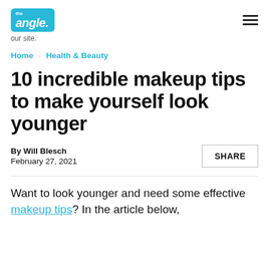the angle. — our site.
Home · Health & Beauty
10 incredible makeup tips to make yourself look younger
By Will Blesch
February 27, 2021
SHARE
Want to look younger and need some effective makeup tips? In the article below, will…